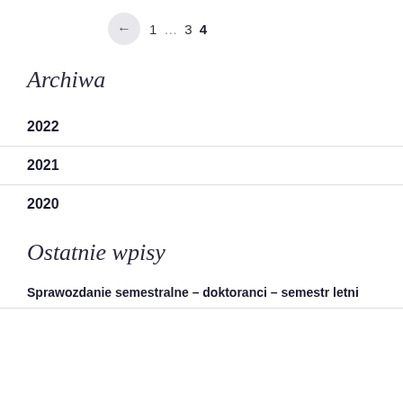← 1 … 3 4
Archiwa
2022
2021
2020
Ostatnie wpisy
Sprawozdanie semestralne – doktoranci – semestr letni